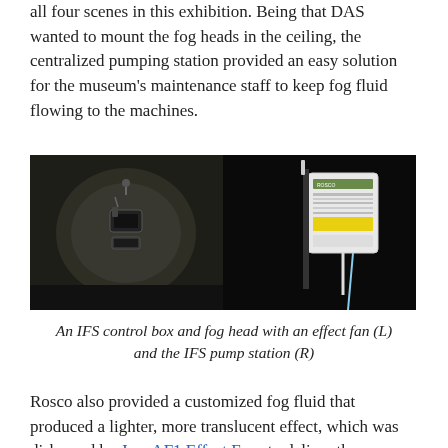all four scenes in this exhibition. Being that DAS wanted to mount the fog heads in the ceiling, the centralized pumping station provided an easy solution for the museum's maintenance staff to keep fog fluid flowing to the machines.
[Figure (photo): Two side-by-side photos: left shows an IFS fog head mounted in a dark ceiling with equipment visible; right shows a white IFS pump station control box mounted on a dark wall with tubing.]
An IFS control box and fog head with an effect fan (L) and the IFS pump station (R)
Rosco also provided a customized fog fluid that produced a lighter, more translucent effect, which was disbursed by Jem AF1 Effect Fans to deliver the theatrical haze required for the experience. This design